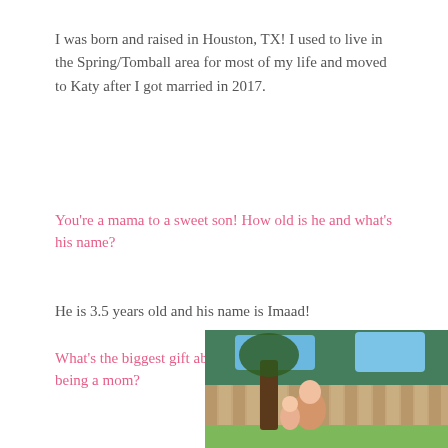I was born and raised in Houston, TX! I used to live in the Spring/Tomball area for most of my life and moved to Katy after I got married in 2017.
You're a mama to a sweet son! How old is he and what's his name?
He is 3.5 years old and his name is Imaad!
What's the biggest gift about being a mom?
[Figure (photo): Outdoor photo showing a woman and child near a wooden fence with trees and blue sky in the background]